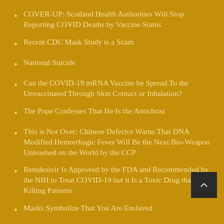COVER-UP: Scotland Health Authorities Will Stop Reporting COVID Deaths by Vaccine Status
Recent CDC Mask Study is a Scam
National Suicide
Can the COVID-19 mRNA Vaccine be Spread To the Unvaccinated Through Skin Contact or Inhalation?
The Pope Confesses That He Is the Antichrist
This is Not Over: Chinese Defector Warns That DNA Modified Hemorrhagic Fever Will Be the Next Bio-Weapon Unleashed on the World by the CCP
Remdesivir Is Approved by the FDA and Recommended by the NIH to Treat COVID-19 but it Is a Toxic Drug that Is Killing Patients
Masks Symbolize That You Are Enslaved
Life Insurance Company Refuses to Pay Out Life Insurance Policy Because Death Was From Experimental COVID-19 Vaccine
Communist China Does Not Use the Dangerous Experimental...